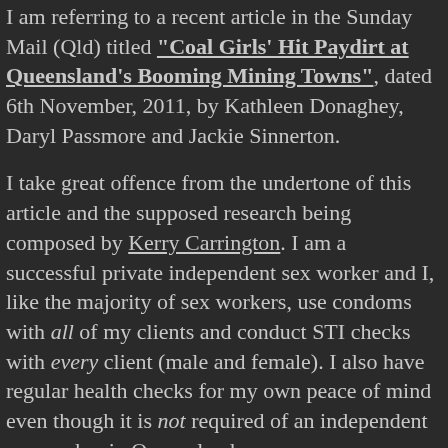I am referring to a recent article in the Sunday Mail (Qld) titled "Coal Girls' Hit Paydirt at Queensland's Booming Mining Towns", dated 6th November, 2011, by Kathleen Donaghey, Daryl Passmore and Jackie Sinnerton.
I take great offence from the undertone of this article and the supposed research being composed by Kerry Carrington.  I am a successful private independent sex worker and I, like the majority of sex workers, use condoms with all of my clients and conduct STI checks with every client (male and female).  I also have regular health checks for my own peace of mind even though it is not required of an independent sex worker in Queensland.
It is not the sex workers who are spreading disease, as articles like this insinuate.  The truth is that sex workers have led the way in STI prevention because we are self-